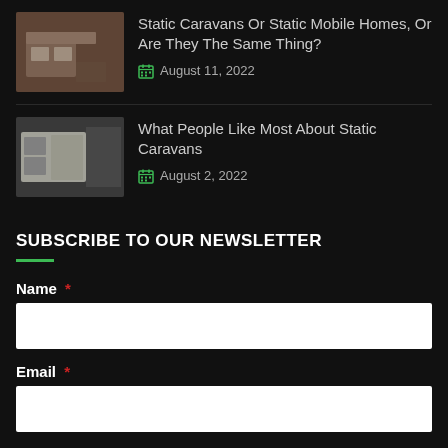Static Caravans Or Static Mobile Homes, Or Are They The Same Thing? — August 11, 2022
What People Like Most About Static Caravans — August 2, 2022
SUBSCRIBE TO OUR NEWSLETTER
Name *
Email *
Submit